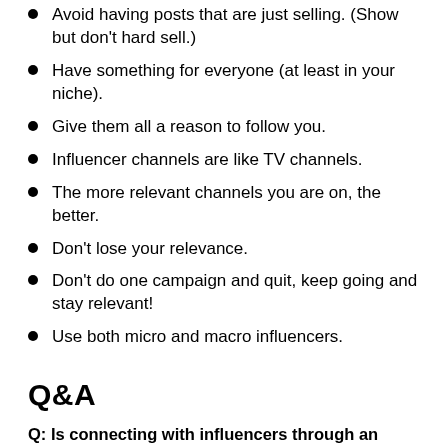Avoid having posts that are just selling. (Show but don't hard sell.)
Have something for everyone (at least in your niche).
Give them all a reason to follow you.
Influencer channels are like TV channels.
The more relevant channels you are on, the better.
Don't lose your relevance.
Don't do one campaign and quit, keep going and stay relevant!
Use both micro and macro influencers.
Q&A
Q: Is connecting with influencers through an influencer